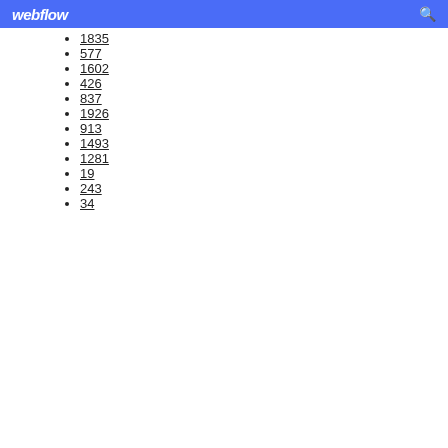webflow
1835
577
1602
426
837
1926
913
1493
1281
19
243
34